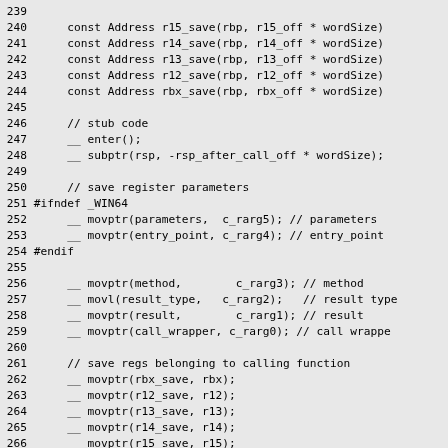239
240      const Address r15_save(rbp, r15_off * wordSize);
241      const Address r14_save(rbp, r14_off * wordSize);
242      const Address r13_save(rbp, r13_off * wordSize);
243      const Address r12_save(rbp, r12_off * wordSize);
244      const Address rbx_save(rbp, rbx_off * wordSize);
245
246      // stub code
247      __ enter();
248      __ subptr(rsp, -rsp_after_call_off * wordSize);
249
250      // save register parameters
251 #ifndef _WIN64
252      __ movptr(parameters,  c_rarg5); // parameters
253      __ movptr(entry_point, c_rarg4); // entry_point
254 #endif
255
256      __ movptr(method,        c_rarg3); // method
257      __ movl(result_type,   c_rarg2);   // result type
258      __ movptr(result,        c_rarg1); // result
259      __ movptr(call_wrapper, c_rarg0); // call wrappe
260
261      // save regs belonging to calling function
262      __ movptr(rbx_save, rbx);
263      __ movptr(r12_save, r12);
264      __ movptr(r13_save, r13);
265      __ movptr(r14_save, r14);
266      __ movptr(r15_save, r15);
267      if (UseAVX > 2) {
268      __ movl(rbx, 0xffff);